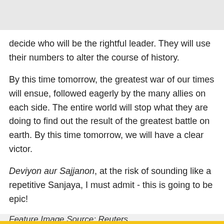decide who will be the rightful leader. They will use their numbers to alter the course of history.
By this time tomorrow, the greatest war of our times will ensue, followed eagerly by the many allies on each side. The entire world will stop what they are doing to find out the result of the greatest battle on earth. By this time tomorrow, we will have a clear victor.
Deviyon aur Sajjanon, at the risk of sounding like a repetitive Sanjaya, I must admit - this is going to be epic!
Feature Image Source: Reuters